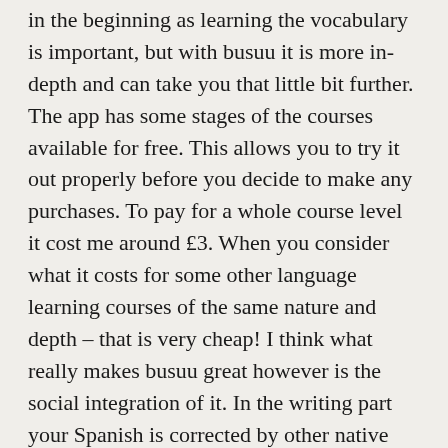in the beginning as learning the vocabulary is important, but with busuu it is more in-depth and can take you that little bit further. The app has some stages of the courses available for free. This allows you to try it out properly before you decide to make any purchases. To pay for a whole course level it cost me around £3. When you consider what it costs for some other language learning courses of the same nature and depth – that is very cheap! I think what really makes busuu great however is the social integration of it. In the writing part your Spanish is corrected by other native Spanish speakers who use the network. In turn they ask you to correct the occasional bit of English writing for other people (Spanish is not the only language you can learn on the app.) There is a big community aspect of busuu that allows you to connect with native Spanish